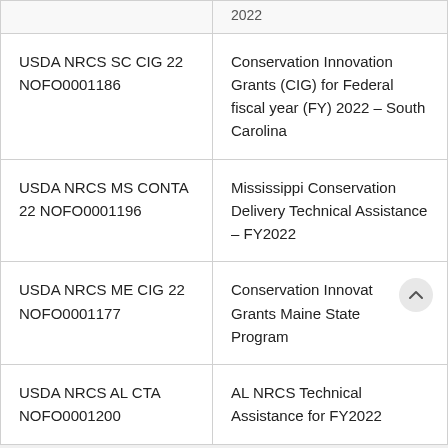| 2022 | 2022 |
| USDA NRCS SC CIG 22 NOFO0001186 | Conservation Innovation Grants (CIG) for Federal fiscal year (FY) 2022 – South Carolina |
| USDA NRCS MS CONTA 22 NOFO0001196 | Mississippi Conservation Delivery Technical Assistance – FY2022 |
| USDA NRCS ME CIG 22 NOFO0001177 | Conservation Innovation Grants Maine State Program |
| USDA NRCS AL CTA NOFO0001200 | AL NRCS Technical Assistance for FY2022 |